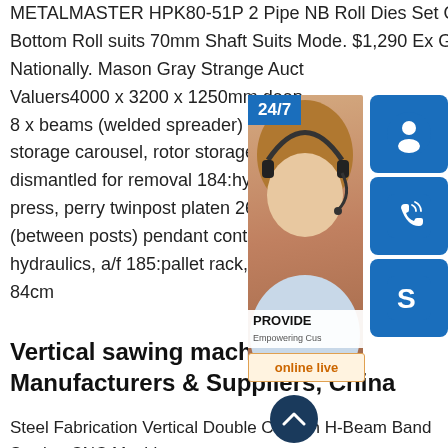METALMASTER HPK80-51P 2 Pipe NB Roll Dies Set Of 3 Rolls, Top Roll suits 80mm Shaft, Bottom Roll suits 70mm Shaft Suits Mode. $1,290 Ex GST. NSW, QLD, VIC, WA Nationally. Mason Gray Strange Auctioneers Valuers4000 x 3200 x 1250mm deep, 8 x beams (welded spreader) 183:tool storage carousel, rotor storage 40 tray, dismantled for removal 184:hydraulic press, perry twinpost platen 260 x 150 (between posts) pendant control, integrated hydraulics, a/f 185:pallet rack, green 4 84cm
[Figure (photo): A woman with a headset overlaid with customer support UI elements: a 24/7 badge, headset icon, phone icon, Skype icon, PROVIDE Empowering Customers text, and an 'online live' button]
Vertical sawing machine Manufacturers & Suppliers, China
Steel Fabrication Vertical Double Column H-Beam Band Sawing CNC Machine